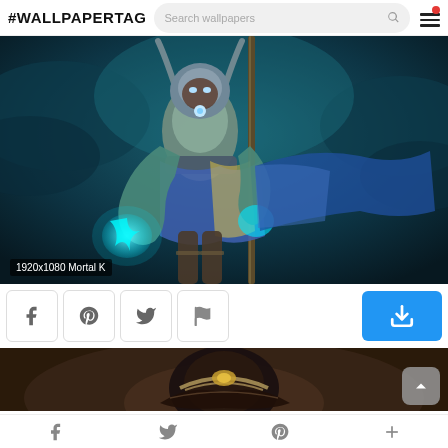#WALLPAPERTAG
[Figure (illustration): Fantasy warrior character with glowing blue hands holding a staff, wearing horned helmet and blue sash, set against a dark teal cloudy background. Label reads '1920x1080 Mortal K']
[Figure (illustration): Partial view of a second wallpaper showing a dark fantasy character with a helmet, brown and dark tones]
f  Twitter bird  Pinterest P  +